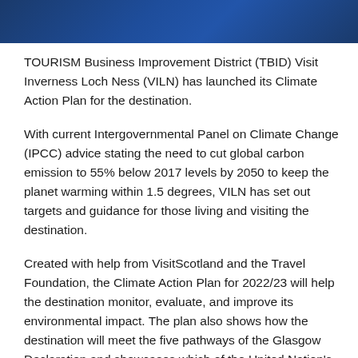[Figure (illustration): Dark blue decorative header banner image]
TOURISM Business Improvement District (TBID) Visit Inverness Loch Ness (VILN) has launched its Climate Action Plan for the destination.
With current Intergovernmental Panel on Climate Change (IPCC) advice stating the need to cut global carbon emission to 55% below 2017 levels by 2050 to keep the planet warming within 1.5 degrees, VILN has set out targets and guidance for those living and visiting the destination.
Created with help from VisitScotland and the Travel Foundation, the Climate Action Plan for 2022/23 will help the destination monitor, evaluate, and improve its environmental impact. The plan also shows how the destination will meet the five pathways of the Glasgow Declaration and showcases which of the United Nation's Sustainable Development Goals are being met and which